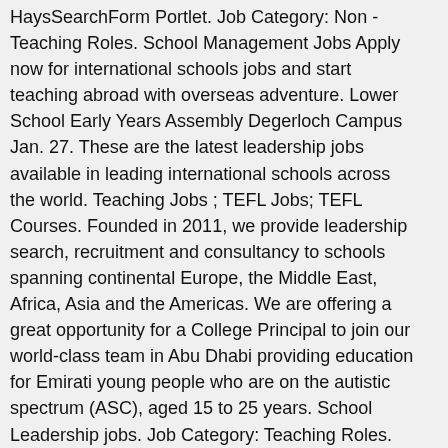HaysSearchForm Portlet. Job Category: Non - Teaching Roles. School Management Jobs Apply now for international schools jobs and start teaching abroad with overseas adventure. Lower School Early Years Assembly Degerloch Campus Jan. 27. These are the latest leadership jobs available in leading international schools across the world. Teaching Jobs ; TEFL Jobs; TEFL Courses. Founded in 2011, we provide leadership search, recruitment and consultancy to schools spanning continental Europe, the Middle East, Africa, Asia and the Americas. We are offering a great opportunity for a College Principal to join our world-class team in Abu Dhabi providing education for Emirati young people who are on the autistic spectrum (ASC), aged 15 to 25 years. School Leadership jobs. Job Category: Teaching Roles. We check thousands of international schools worldwide every day to bring you the latest international school Principal jobs abroad, as well as job opportunities from around the world. … Mission & Values ; Curriculum; Video Library; Careers. Apply faster using your Tes CV, which saves, Salary: highly competitive remuneration and an extensive benefits package that is supportive of the needs of families. Browse through